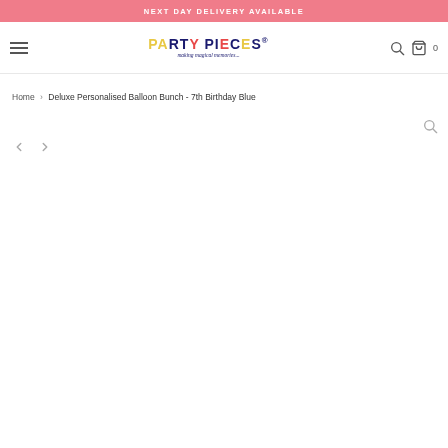NEXT DAY DELIVERY AVAILABLE
[Figure (logo): Party Pieces logo with colorful lettering and tagline 'making magical memories...']
Home › Deluxe Personalised Balloon Bunch - 7th Birthday Blue
[Figure (screenshot): Product image viewer area with left and right navigation arrows and a zoom icon, showing an empty/white product image area for a balloon bunch product]